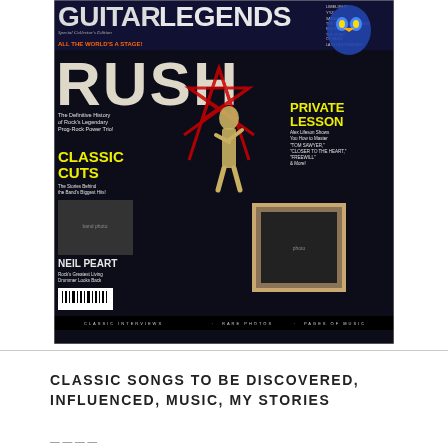[Figure (photo): Magazine cover of Guitar Legends Special Collector's Edition featuring RUSH. Dark background with large RUSH logo, gold human figure silhouette against a red pentagram star, blue owl graphic top right, text about Classic Cuts, Private Lesson with Alex Lifeson, Neil Peart section. Bottom bar reads CLASSIC INTERVIEWS · RARE PHOTOS · PAGES OF MUSIC.]
CLASSIC SONGS TO BE DISCOVERED, INFLUENCED, MUSIC, MY STORIES